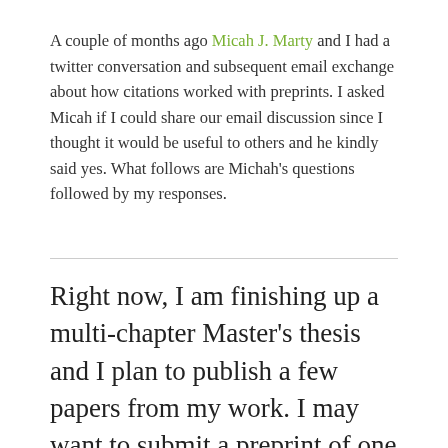A couple of months ago Micah J. Marty and I had a twitter conversation and subsequent email exchange about how citations worked with preprints. I asked Micah if I could share our email discussion since I thought it would be useful to others and he kindly said yes. What follows are Michah's questions followed by my responses.
Right now, I am finishing up a multi-chapter Master's thesis and I plan to publish a few papers from my work. I may want to submit a preprint of one manuscript but before I propose this avenue to my advisor, I want to understand it fully myself. And I have remaining questions about the syntax of citing works when preprints come into